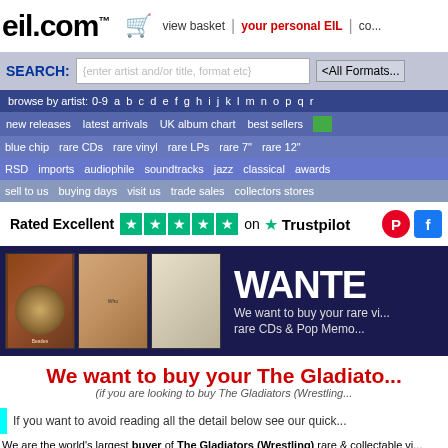eil.com™  view basket | your personal EIL | co...
SEARCH: {enter artist and/or title, format etc} <All Formats>
browse by artist: 0-9 a b c d e f g h i j k l m n o p q r
new releases   latest arrivals   UK album chart   best sellers
blue chip   rare CDs   rare vinyl   rare LPs   rare 7"   rare 12"
RSD   imports   audiophile   soundtracks   jazz   classical   awards
sell to us   buying days   visit us   trade sales   collectors stores
Rated Excellent ★★★★★ on ★ Trustpilot
[Figure (infographic): WANTED banner: album covers on left, dark blue background with WANTED text and 'We want to buy your rare vinyl, rare CDs & Pop Memorabilia']
We want to buy your The Gladiators (Wrestling)
(if you are looking to buy The Gladiators (Wrestling)...
If you want to avoid reading all the detail below see our quick...
We are the world's largest buyer of The Gladiators (Wrestling) rare & collectable vinyl, memorabilia, and it's easy to sell your The Gladiators (Wrestling) Records to us.
So call free on 0800 345 7551 (UK only) or email buyers@eil.com